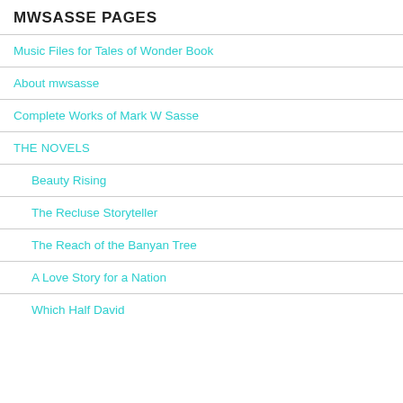MWSASSE PAGES
Music Files for Tales of Wonder Book
About mwsasse
Complete Works of Mark W Sasse
THE NOVELS
Beauty Rising
The Recluse Storyteller
The Reach of the Banyan Tree
A Love Story for a Nation
Which Half David